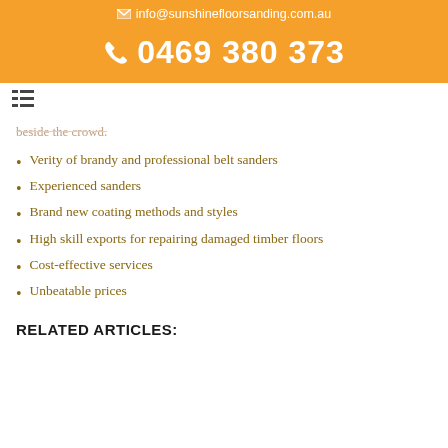info@sunshinefloorsanding.com.au
0469 380 373
beside the crowd.
Verity of brandy and professional belt sanders
Experienced sanders
Brand new coating methods and styles
High skill exports for repairing damaged timber floors
Cost-effective services
Unbeatable prices
RELATED ARTICLES: